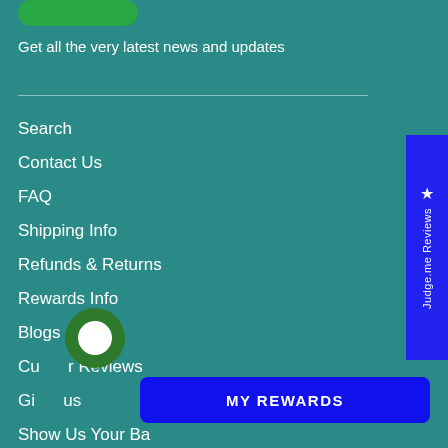[Figure (other): Green rounded button partially cropped at top of page]
Get all the very latest news and updates
Search
Contact Us
FAQ
Shipping Info
Refunds & Returns
Rewards Info
Blogs
Customer Reviews
Gift Cards
Show Us Your Ba...
[Figure (other): Judge.me Reviews vertical sidebar badge in blue on right edge]
[Figure (other): Green circular chat bubble icon]
[Figure (other): MY REWARDS blue button at bottom]